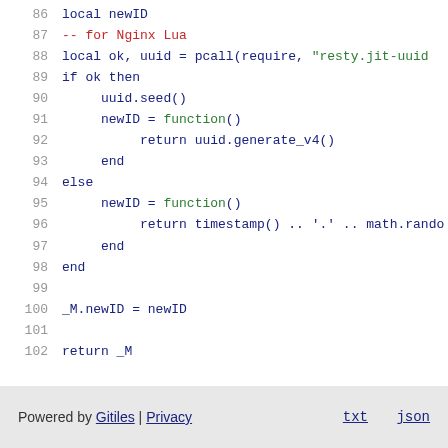86  local newID
87  -- for Nginx Lua
88  local ok, uuid = pcall(require, "resty.jit-uuid
89  if ok then
90      uuid.seed()
91      newID = function()
92          return uuid.generate_v4()
93      end
94  else
95      newID = function()
96          return timestamp() .. '.' .. math.rando
97      end
98  end
99
100 _M.newID = newID
101
102 return _M
Powered by Gitiles | Privacy    txt  json